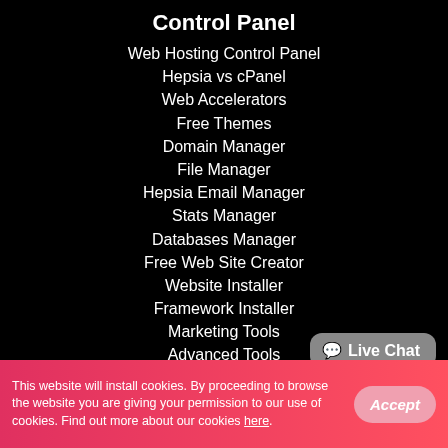Control Panel
Web Hosting Control Panel
Hepsia vs cPanel
Web Accelerators
Free Themes
Domain Manager
File Manager
Hepsia Email Manager
Stats Manager
Databases Manager
Free Web Site Creator
Website Installer
Framework Installer
Marketing Tools
Advanced Tools
Live Chat
This website will install cookies. By proceeding to browse the website you are giving your permission to our use of cookies. Find out more about our cookies here.